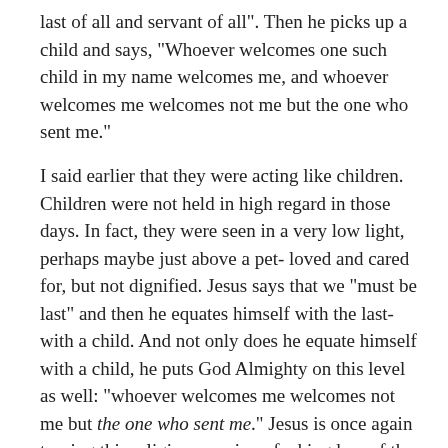last of all and servant of all". Then he picks up a child and says, “Whoever welcomes one such child in my name welcomes me, and whoever welcomes me welcomes not me but the one who sent me.”
I said earlier that they were acting like children. Children were not held in high regard in those days. In fact, they were seen in a very low light, perhaps maybe just above a pet- loved and cared for, but not dignified. Jesus says that we “must be last” and then he equates himself with the last- with a child. And not only does he equate himself with a child, he puts God Almighty on this level as well: “whoever welcomes me welcomes not me but the one who sent me.” Jesus is once again turning this religious version of a kingdom of the world upside-down and inside-out.